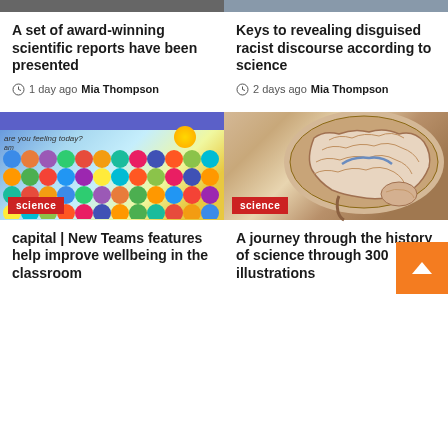A set of award-winning scientific reports have been presented
1 day ago Mia Thompson
Keys to revealing disguised racist discourse according to science
2 days ago Mia Thompson
[Figure (screenshot): Screenshot of a colorful app showing rows of emoji-like colorful character balls under the text 'are you feeling today?' with a sun graphic and blue app bar. 'science' badge in red at bottom left.]
[Figure (illustration): Anatomical cross-section illustration of a human brain showing cortex folds, corpus callosum, cerebellum, and brain stem. 'science' badge in red at bottom left.]
capital | New Teams features help improve wellbeing in the classroom
A journey through the history of science through 300 illustrations